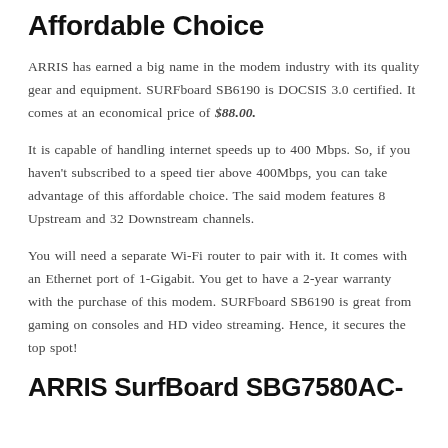Affordable Choice
ARRIS has earned a big name in the modem industry with its quality gear and equipment. SURFboard SB6190 is DOCSIS 3.0 certified. It comes at an economical price of $88.00.
It is capable of handling internet speeds up to 400 Mbps. So, if you haven't subscribed to a speed tier above 400Mbps, you can take advantage of this affordable choice. The said modem features 8 Upstream and 32 Downstream channels.
You will need a separate Wi-Fi router to pair with it. It comes with an Ethernet port of 1-Gigabit. You get to have a 2-year warranty with the purchase of this modem. SURFboard SB6190 is great from gaming on consoles and HD video streaming. Hence, it secures the top spot!
ARRIS SurfBoard SBG7580AC-